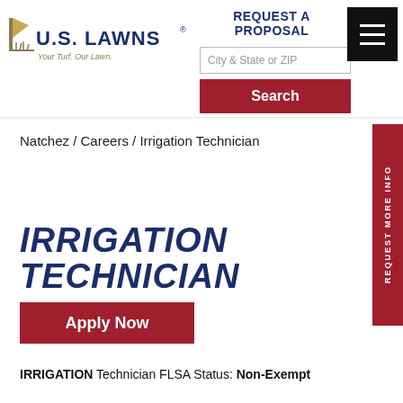[Figure (logo): U.S. Lawns logo with grass icon and tagline 'Your Turf. Our Lawn.']
REQUEST A PROPOSAL
City & State or ZIP
Search
[Figure (other): Hamburger menu icon (three white lines on black background)]
REQUEST MORE INFO
Natchez / Careers / Irrigation Technician
IRRIGATION TECHNICIAN
Apply Now
IRRIGATION Technician FLSA Status: Non-Exempt